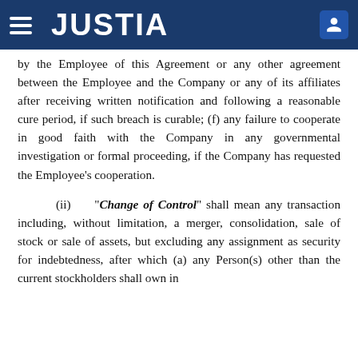JUSTIA
by the Employee of this Agreement or any other agreement between the Employee and the Company or any of its affiliates after receiving written notification and following a reasonable cure period, if such breach is curable; (f) any failure to cooperate in good faith with the Company in any governmental investigation or formal proceeding, if the Company has requested the Employee's cooperation.
(ii) "Change of Control" shall mean any transaction including, without limitation, a merger, consolidation, sale of stock or sale of assets, but excluding any assignment as security for indebtedness, after which (a) any Person(s) other than the current stockholders shall own in